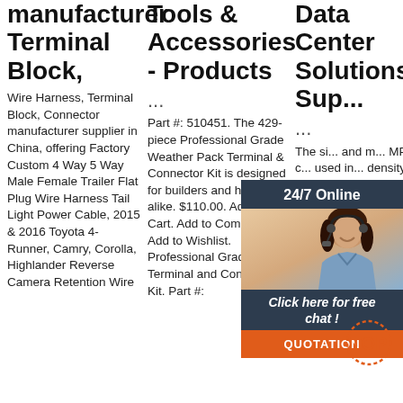manufacturer Terminal Block,
Wire Harness, Terminal Block, Connector manufacturer supplier in China, offering Factory Custom 4 Way 5 Way Male Female Trailer Flat Plug Wire Harness Tail Light Power Cable, 2015 & 2016 Toyota 4-Runner, Camry, Corolla, Highlander Reverse Camera Retention Wire
Tools & Accessories - Products ...
Part #: 510451. The 429-piece Professional Grade Weather Pack Terminal & Connector Kit is designed for builders and hobbyists alike. $110.00. Add to Cart. Add to Compare Add to Wishlist. Professional Grade Terminal and Connector Kit. Part #:
Data Center Solutions Sup...
... The si... and m... MPO c... used in... density... and pr... board ... applica... data a... telecommunications system. The MPO connector offers up to 12 times of the density of standard
[Figure (photo): Chat widget with woman wearing headset, 24/7 Online header, Click here for free chat button, and QUOTATION orange button]
[Figure (logo): TOP badge with orange dotted circle]